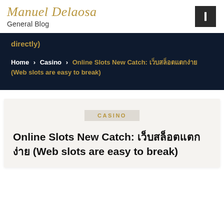Manuel Delaosa
General Blog
directly)
Home > Casino > Online Slots New Catch: เว็บสล็อตแตกง่าย (Web slots are easy to break)
CASINO
Online Slots New Catch: เว็บสล็อตแตกง่าย (Web slots are easy to break)